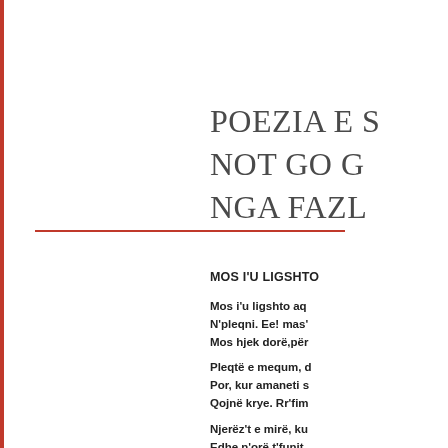POEZIA E S
NOT GO G
NGA FAZL
MOS I'U LIGSHTO
Mos i'u ligshto aq
N'pleqni. Ee! mas'
Mos hjek dorë,për

Pleqtë e mequm,  d
Por, kur amaneti s
Qojnë krye. Rr'fim

Njerëz't e mirë,  ku
Edhe n'orë t'funit,
Idhnohen. Bahen z

Njerëz't e guximsh